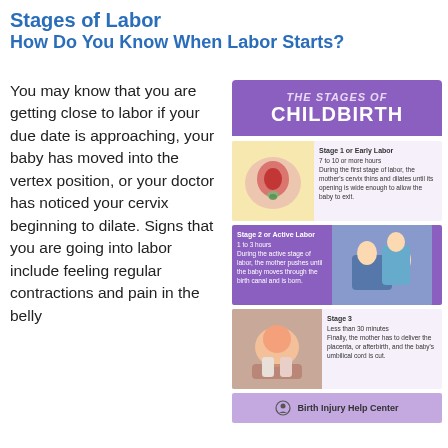Stages of Labor
How Do You Know When Labor Starts?
You may know that you are getting close to labor if your due date is approaching, your baby has moved into the vertex position, or your doctor has noticed your cervix beginning to dilate. Signs that you are going into labor include feeling regular contractions and pain in the belly
[Figure (infographic): Infographic titled 'The Stages of Childbirth' showing three stages: Stage 1 or Early Labor (7 to 10 or more hours) with an anatomical illustration of cervix dilation; Stage 2 or Active Labor (1 to 3 hours) with a photo of a woman giving birth assisted by medical staff; Stage 3 (Less than 30 minutes) with a photo of a newborn being delivered. Bottom banner shows Birth Injury Help Center logo and name.]